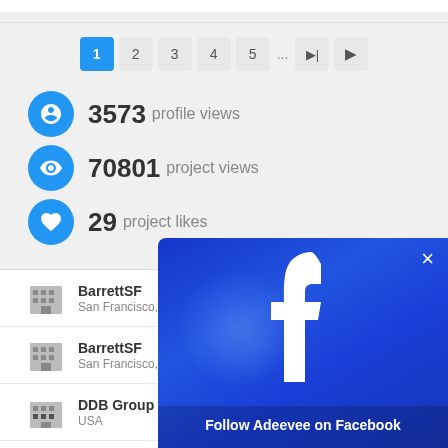[Figure (screenshot): Pagination bar with page buttons 1 (active/blue), 2, 3, 4, 5, ..., next, last]
3573 profile views
70801 project views
29 project likes
BarrettSF – San Francisco, USA
BarrettSF – San Francisco, USA
DDB Group – USA
BarrettSF – San Francisco, USA
[Figure (screenshot): Facebook follow overlay popup with Facebook 'f' logo and text 'Follow Adeevee on Facebook']